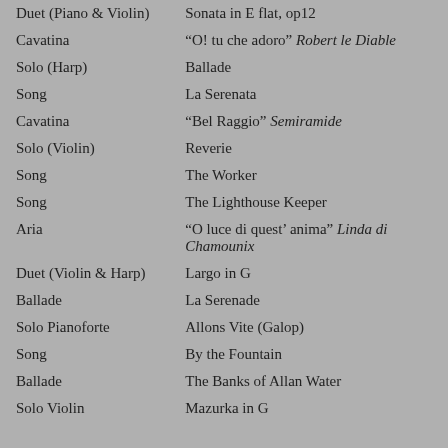| Type | Title |
| --- | --- |
| Duet (Piano & Violin) | Sonata in E flat, op12 |
| Cavatina | “O! tu che adoro” Robert le Diable |
| Solo (Harp) | Ballade |
| Song | La Serenata |
| Cavatina | “Bel Raggio” Semiramide |
| Solo (Violin) | Reverie |
| Song | The Worker |
| Song | The Lighthouse Keeper |
| Aria | “O luce di quest’ anima” Linda di Chamounix |
| Duet (Violin & Harp) | Largo in G |
| Ballade | La Serenade |
| Solo Pianoforte | Allons Vite (Galop) |
| Song | By the Fountain |
| Ballade | The Banks of Allan Water |
| Solo Violin | Mazurka in G |